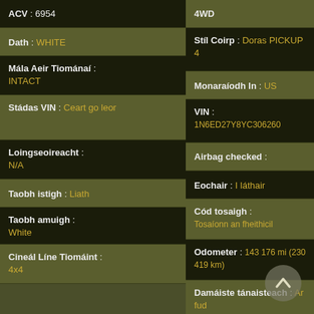ACV : 6954
Dath : WHITE
Mála Aeir Tiománaí : INTACT
Stádas VIN : Ceart go leor
Loingseoireacht : N/A
Taobh istigh : Liath
Taobh amuigh : White
Cineál Líne Tiomáint : 4x4
4WD
Stíl Coirp : Doras PICKUP 4
Monaraíodh In : US
VIN : 1N6ED27Y8YC306260
Airbag checked :
Eochair : I láthair
Cód tosaigh : Tosaíonn an fheithicil
Odometer : 143 176 mi (230 419 km)
Damáiste tánaisteach : Ar fud
Damáiste bunscoile : Rollover
Caillteanas : Imbhualadh